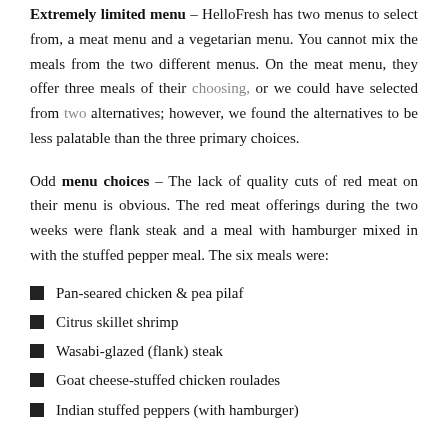Extremely limited menu – HelloFresh has two menus to select from, a meat menu and a vegetarian menu. You cannot mix the meals from the two different menus. On the meat menu, they offer three meals of their choosing, or we could have selected from two alternatives; however, we found the alternatives to be less palatable than the three primary choices.
Odd menu choices – The lack of quality cuts of red meat on their menu is obvious. The red meat offerings during the two weeks were flank steak and a meal with hamburger mixed in with the stuffed pepper meal. The six meals were:
Pan-seared chicken & pea pilaf
Citrus skillet shrimp
Wasabi-glazed (flank) steak
Goat cheese-stuffed chicken roulades
Indian stuffed peppers (with hamburger)